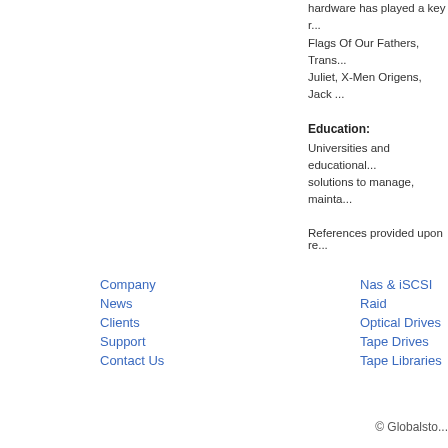hardware has played a key r... Flags Of Our Fathers, Trans... Juliet, X-Men Origens, Jack ...
Education:
Universities and educational... solutions to manage, mainta...
References provided upon re...
Company
News
Clients
Support
Contact Us
Nas & iSCSI
Raid
Optical Drives
Tape Drives
Tape Libraries
© Globalsto...